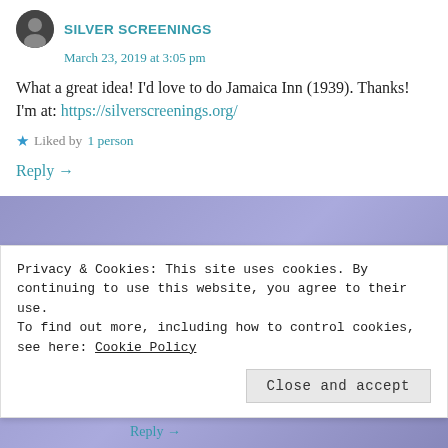SILVER SCREENINGS
March 23, 2019 at 3:05 pm
What a great idea! I'd love to do Jamaica Inn (1939). Thanks!
I'm at: https://silverscreenings.org/
Liked by 1 person
Reply →
PALEWRITER2
Privacy & Cookies: This site uses cookies. By continuing to use this website, you agree to their use.
To find out more, including how to control cookies, see here: Cookie Policy
Close and accept
Reply →